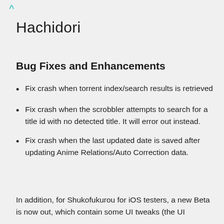Hachidori
Bug Fixes and Enhancements
Fix crash when torrent index/search results is retrieved
Fix crash when the scrobbler attempts to search for a title id with no detected title. It will error out instead.
Fix crash when the last updated date is saved after updating Anime Relations/Auto Correction data.
In addition, for Shukofukurou for iOS testers, a new Beta is now out, which contain some UI tweaks (the UI